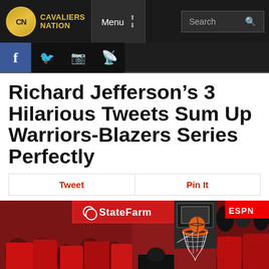Cavaliers Nation — Menu / Search navigation bar
[Figure (screenshot): Cavaliers Nation website header with logo, Menu button, and Search bar on dark background, followed by social media icons (Facebook, Twitter, Instagram, RSS)]
Richard Jefferson’s 3 Hilarious Tweets Sum Up Warriors-Blazers Series Perfectly
[Figure (other): Share bar with Tweet and Pin It buttons]
[Figure (photo): Basketball arena photo showing a basketball going through a hoop, fans in red clothing, State Farm banner visible, ESPN logo visible]
[Figure (screenshot): Richard Jefferson tweet screenshot and partial second tweet screenshot at bottom of page]